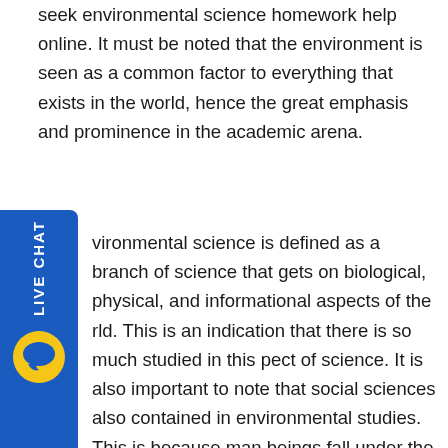seek environmental science homework help online. It must be noted that the environment is seen as a common factor to everything that exists in the world, hence the great emphasis and prominence in the academic arena.
Environmental science is defined as a branch of science that gets on biological, physical, and informational aspects of the world. This is an indication that there is so much studied in this aspect of science. It is also important to note that social sciences are also contained in environmental studies. This is because human beings fall under the social life and the environment is a major contributor.
Well, if you are pursuing a course in environmental sciences, you must be ready to work extremely hard since there are a lot of things to be covered. In most cases, environmental studies involve practical work that is of equal measure with theory work. This is the reason why environmental studies are considered more engaging than other niches.
[Figure (other): Live Chat widget — vertical blue tab on left side with 'LIVE CHAT' text rotated vertically and a yellow speech bubble icon at the bottom]